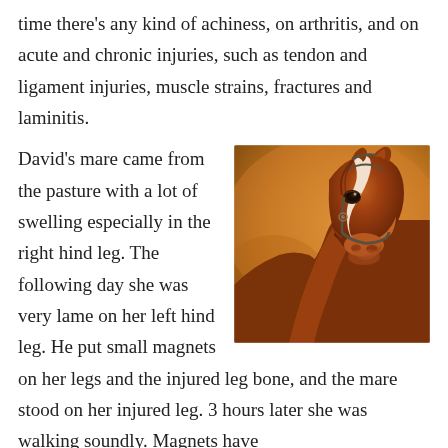time there's any kind of achiness, on arthritis, and on acute and chronic injuries, such as tendon and ligament injuries, muscle strains, fractures and laminitis.
David's mare came from the pasture with a lot of swelling especially in the right hind leg. The following day she was very lame on her left hind leg. He put small magnets on her legs and the injured leg bone, and the mare stood on her injured leg. 3 hours later she was walking soundly. Magnets have
[Figure (photo): Close-up portrait of a chestnut horse with a white blaze, wearing a bridle, against a warm golden/orange blurred background.]